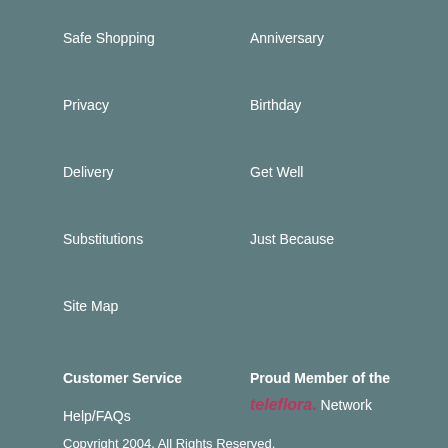Safe Shopping
Anniversary
Privacy
Birthday
Delivery
Get Well
Substitutions
Just Because
Site Map
Customer Service
Proud Member of the
Help/FAQs
teleflora. Network
Copyright 2004. All Rights Reserved.